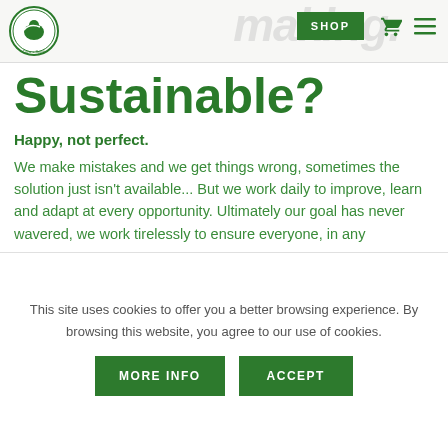[Figure (logo): Cora + Spink circular logo with bird/dove illustration in green]
SHOP
Sustainable?
Happy, not perfect.
We make mistakes and we get things wrong, sometimes the solution just isn't available... But we work daily to improve, learn and adapt at every opportunity. Ultimately our goal has never wavered, we work tirelessly to ensure everyone, in any
This site uses cookies to offer you a better browsing experience. By browsing this website, you agree to our use of cookies.
MORE INFO
ACCEPT